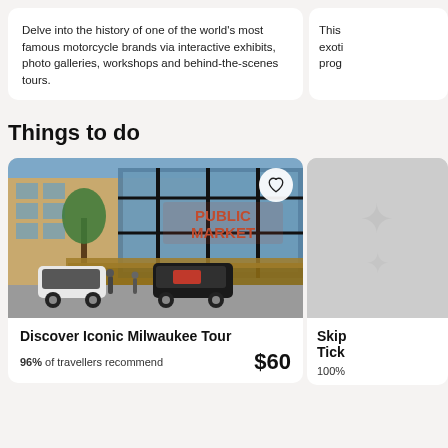Delve into the history of one of the world's most famous motorcycle brands via interactive exhibits, photo galleries, workshops and behind-the-scenes tours.
This exoti prog
Things to do
[Figure (photo): Two small electric tour vehicles parked in front of the Milwaukee Public Market building with glass facade and decorative thatched roof structure]
Discover Iconic Milwaukee Tour
96% of travellers recommend
$60
Skip Tick 100%